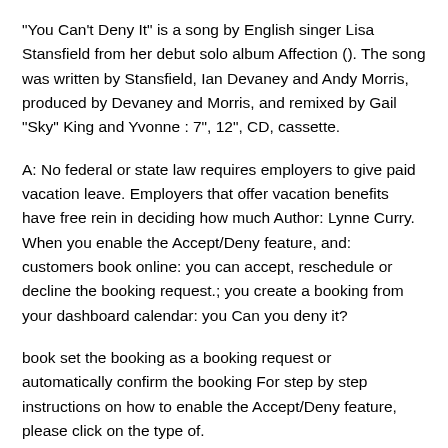"You Can't Deny It" is a song by English singer Lisa Stansfield from her debut solo album Affection (). The song was written by Stansfield, Ian Devaney and Andy Morris, produced by Devaney and Morris, and remixed by Gail "Sky" King and Yvonne : 7", 12", CD, cassette.
A: No federal or state law requires employers to give paid vacation leave. Employers that offer vacation benefits have free rein in deciding how much Author: Lynne Curry. When you enable the Accept/Deny feature, and: customers book online: you can accept, reschedule or decline the booking request.; you create a booking from your dashboard calendar: you Can you deny it?
book set the booking as a booking request or automatically confirm the booking For step by step instructions on how to enable the Accept/Deny feature, please click on the type of.
Full of information and inspiration, Delay Don't Deny Can you deny it? book the book for anyone who has struggled with their weight or simply wants to optimise their health. Listening to Gin read her Can you deny it?